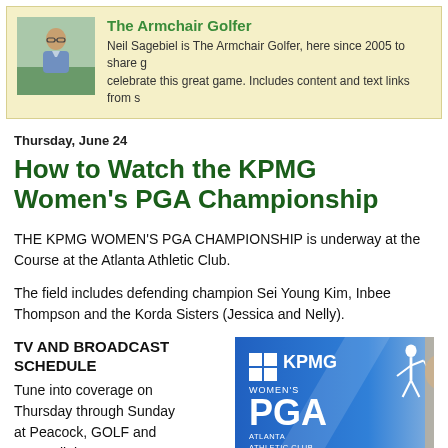The Armchair Golfer — Neil Sagebiel is The Armchair Golfer, here since 2005 to share and celebrate this great game. Includes content and text links from s…
Thursday, June 24
How to Watch the KPMG Women's PGA Championship
THE KPMG WOMEN'S PGA CHAMPIONSHIP is underway at the Highlands Course at the Atlanta Athletic Club.
The field includes defending champion Sei Young Kim, Inbee… Thompson and the Korda Sisters (Jessica and Nelly).
TV AND BROADCAST SCHEDULE
Tune into coverage on Thursday through Sunday at Peacock, GOLF and NBC. All times Eastern
[Figure (logo): KPMG Women's PGA Atlanta Athletic Club banner with golfer silhouette on blue/white gradient background]